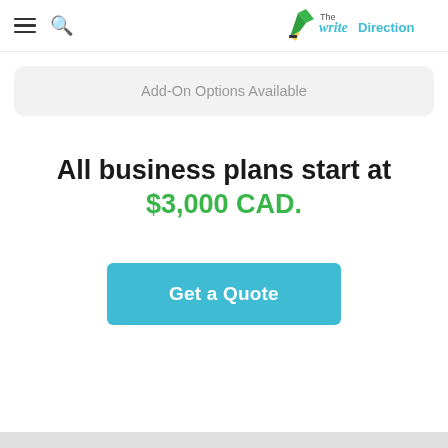The write Direction
Add-On Options Available
All business plans start at $3,000 CAD.
Get a Quote